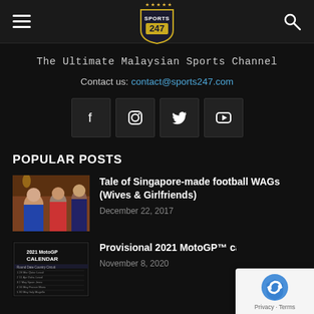Sports 247 – The Ultimate Malaysian Sports Channel
The Ultimate Malaysian Sports Channel
Contact us: contact@sports247.com
[Figure (screenshot): Social media icon buttons: Facebook, Instagram, Twitter, YouTube]
POPULAR POSTS
[Figure (photo): Photo of people – Singapore-made football WAGs article thumbnail]
Tale of Singapore-made football WAGs (Wives & Girlfriends)
December 22, 2017
[Figure (screenshot): 2021 MotoGP Calendar article thumbnail]
Provisional 2021 MotoGP™ calendar re
November 8, 2020